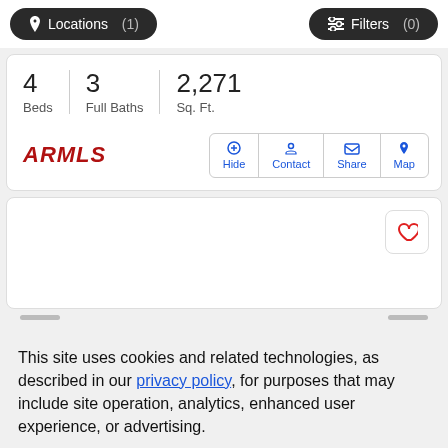Locations (1)   Filters (0)
4 Beds  3 Full Baths  2,271 Sq. Ft.
[Figure (logo): ARMLS logo in red italic bold text]
Hide  Contact  Share  Map
[Figure (infographic): Heart/favorite button in top right corner of listing card]
This site uses cookies and related technologies, as described in our privacy policy, for purposes that may include site operation, analytics, enhanced user experience, or advertising.
Manage Preferences  Accept